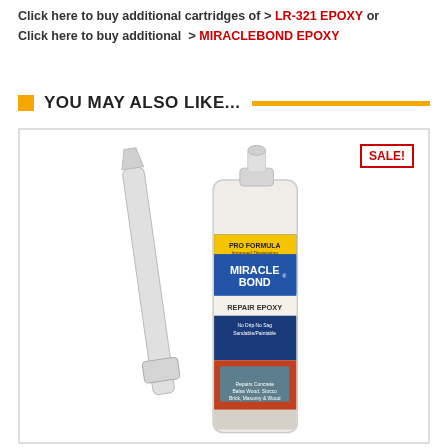Click here to buy additional cartridges of > LR-321 EPOXY or
Click here to buy additional > MIRACLEBOND EPOXY
YOU MAY ALSO LIKE...
[Figure (photo): Product photo of Miracle Bond Repair Epoxy cartridge with mixing nozzle, showing blue/yellow label. A red SALE! badge is in the top right corner of the product box.]